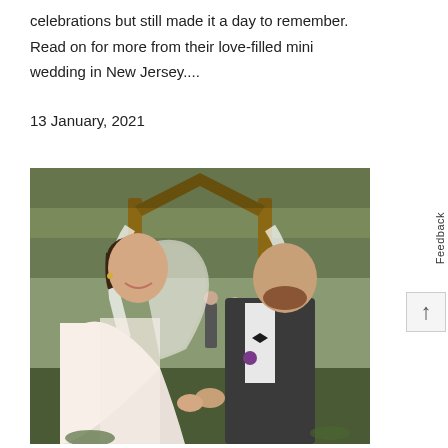celebrations but still made it a day to remember. Read on for more from their love-filled mini wedding in New Jersey....
13 January, 2021
[Figure (photo): A bride in a white lace halter dress and a groom in a dark suit with bow tie walking together outdoors after a ceremony, with a wooden arch and greenery in the background.]